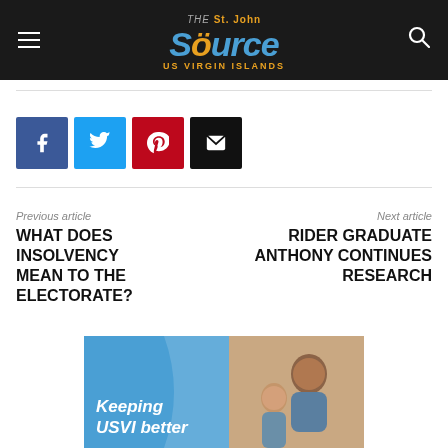The St. John Source — US Virgin Islands
[Figure (screenshot): Social media share buttons: Facebook, Twitter, Pinterest, Email]
Previous article
WHAT DOES INSOLVENCY MEAN TO THE ELECTORATE?
Next article
RIDER GRADUATE ANTHONY CONTINUES RESEARCH
[Figure (photo): Advertisement banner reading 'Keeping USVI better' with image of a woman and child smiling]